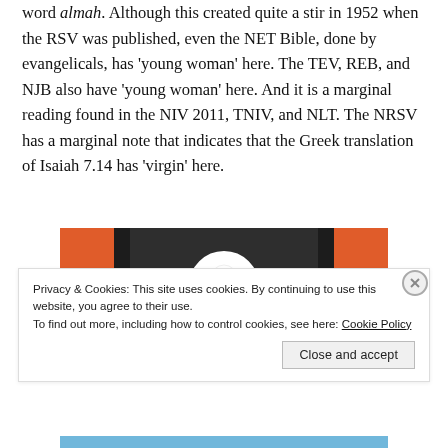word 'almah. Although this created quite a stir in 1952 when the RSV was published, even the NET Bible, done by evangelicals, has 'young woman' here. The TEV, REB, and NJB also have 'young woman' here. And it is a marginal reading found in the NIV 2011, TNIV, and NLT. The NRSV has a marginal note that indicates that the Greek translation of Isaiah 7.14 has 'virgin' here.
[Figure (logo): DuckDuckGo logo/advertisement banner with orange sides and dark center showing duck mascot in a white circle]
Privacy & Cookies: This site uses cookies. By continuing to use this website, you agree to their use. To find out more, including how to control cookies, see here: Cookie Policy
Close and accept